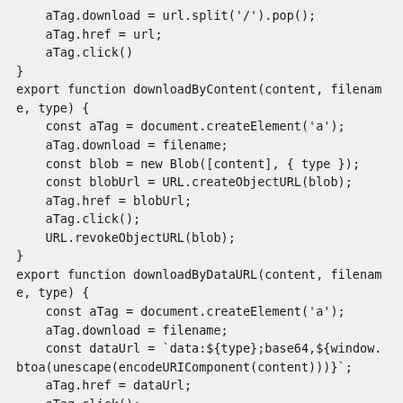aTag.download = url.split('/').pop();
    aTag.href = url;
    aTag.click()
}
export function downloadByContent(content, filename, type) {
    const aTag = document.createElement('a');
    aTag.download = filename;
    const blob = new Blob([content], { type });
    const blobUrl = URL.createObjectURL(blob);
    aTag.href = blobUrl;
    aTag.click();
    URL.revokeObjectURL(blob);
}
export function downloadByDataURL(content, filename, type) {
    const aTag = document.createElement('a');
    aTag.download = filename;
    const dataUrl = `data:${type};base64,${window.btoa(unescape(encodeURIComponent(content)))}` ;
    aTag.href = dataUrl;
    aTag.click();
}
export function downloadByBlob(blob, filename) {